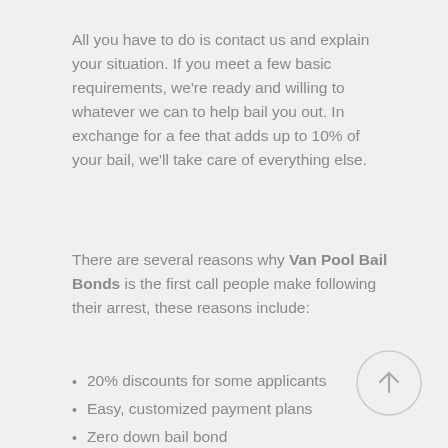All you have to do is contact us and explain your situation. If you meet a few basic requirements, we're ready and willing to whatever we can to help bail you out. In exchange for a fee that adds up to 10% of your bail, we'll take care of everything else.
There are several reasons why Van Pool Bail Bonds is the first call people make following their arrest, these reasons include:
20% discounts for some applicants
Easy, customized payment plans
Zero down bail bond